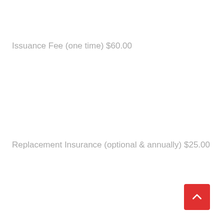Issuance Fee (one time) $60.00
Replacement Insurance (optional & annually) $25.00